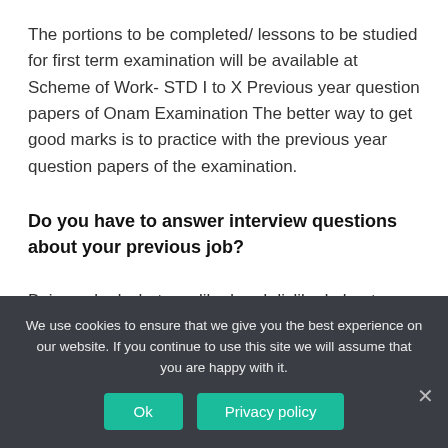The portions to be completed/ lessons to be studied for first term examination will be available at Scheme of Work- STD I to X Previous year question papers of Onam Examination The better way to get good marks is to practice with the previous year question papers of the examination.
Do you have to answer interview questions about your previous job?
Being asked what you liked and disliked about your former
We use cookies to ensure that we give you the best experience on our website. If you continue to use this site we will assume that you are happy with it.